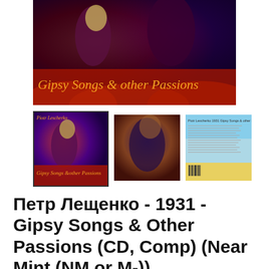[Figure (photo): Album cover banner image for 'Gipsy Songs & other Passions' by Piotr Lescherko. Dark red and purple tones with performers/musicians, gold italic text overlay reading 'Gipsy Songs & other Passions']
[Figure (photo): Three thumbnail images of the CD: front cover (selected, with border), back cover detail, and CD back/booklet scan]
Петр Лещенко - 1931 - Gipsy Songs & Other Passions (CD, Comp) (Near Mint (NM or M-))